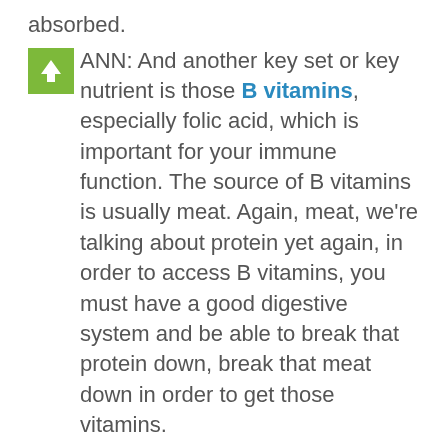absorbed.
ANN: And another key set or key nutrient is those B vitamins, especially folic acid, which is important for your immune function. The source of B vitamins is usually meat. Again, meat, we're talking about protein yet again, in order to access B vitamins, you must have a good digestive system and be able to break that protein down, break that meat down in order to get those vitamins.
CASSIE: Another nutrient that's important for so many different aspects of our health, including a good functioning immune system is Omega-3 fatty acids. And I know many of you are already aware that wild caught salmon